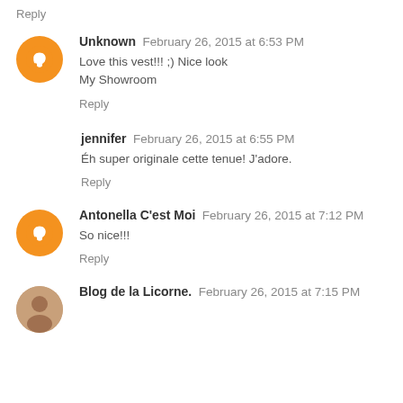Reply
Unknown  February 26, 2015 at 6:53 PM
Love this vest!!! ;) Nice look
My Showroom
Reply
jennifer  February 26, 2015 at 6:55 PM
Éh super originale cette tenue! J'adore.
Reply
Antonella C'est Moi  February 26, 2015 at 7:12 PM
So nice!!!
Reply
Blog de la Licorne.  February 26, 2015 at 7:15 PM